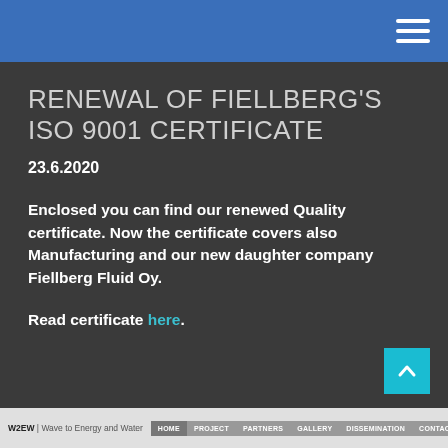Navigation header with hamburger menu
RENEWAL OF FIELLBERG'S ISO 9001 CERTIFICATE
23.6.2020
Enclosed you can find our renewed Quality certificate. Now the certificate covers also Manufacturing and our new daughter company Fiellberg Fluid Oy.
Read certificate here.
W2EW | Wave to Energy and Water  HOME  PROJECT  PARTNERS  GALLERY  DISSEMINATION  CONTACT